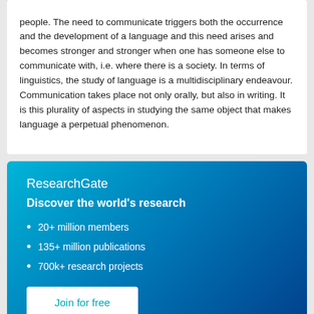people. The need to communicate triggers both the occurrence and the development of a language and this need arises and becomes stronger and stronger when one has someone else to communicate with, i.e. where there is a society. In terms of linguistics, the study of language is a multidisciplinary endeavour. Communication takes place not only orally, but also in writing. It is this plurality of aspects in studying the same object that makes language a perpetual phenomenon.
ResearchGate
Discover the world's research
20+ million members
135+ million publications
700k+ research projects
Join for free